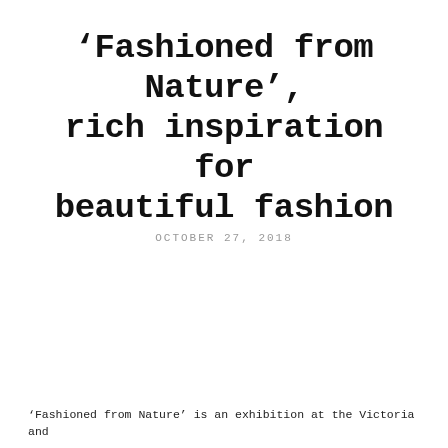'Fashioned from Nature', rich inspiration for beautiful fashion
OCTOBER 27, 2018
'Fashioned from Nature' is an exhibition at the Victoria and